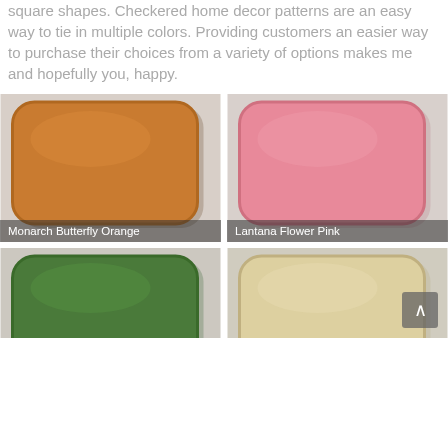square shapes. Checkered home decor patterns are an easy way to tie in multiple colors. Providing customers an easier way to purchase their choices from a variety of options makes me and hopefully you, happy.
[Figure (photo): Orange throw pillow labeled Monarch Butterfly Orange on a light background]
[Figure (photo): Pink throw pillow labeled Lantana Flower Pink on a light background]
[Figure (photo): Green throw pillow (partially visible, bottom of page) on a light background]
[Figure (photo): Beige/cream throw pillow (partially visible, bottom of page) on a light background, with back-to-top arrow button overlay]